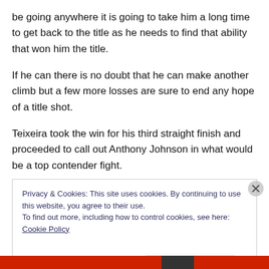be going anywhere it is going to take him a long time to get back to the title as he needs to find that ability that won him the title.
If he can there is no doubt that he can make another climb but a few more losses are sure to end any hope of a title shot.
Teixeira took the win for his third straight finish and proceeded to call out Anthony Johnson in what would be a top contender fight.
Privacy & Cookies: This site uses cookies. By continuing to use this website, you agree to their use.
To find out more, including how to control cookies, see here: Cookie Policy